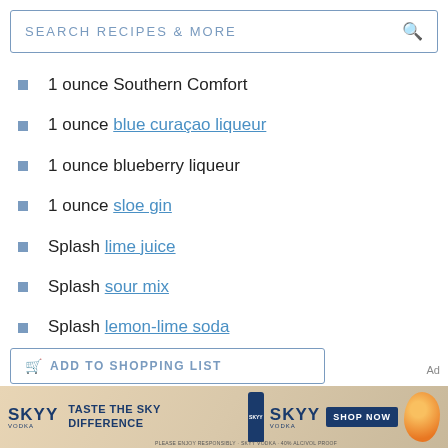SEARCH RECIPES & MORE
1 ounce Southern Comfort
1 ounce blue curaçao liqueur
1 ounce blueberry liqueur
1 ounce sloe gin
Splash lime juice
Splash sour mix
Splash lemon-lime soda
ADD TO SHOPPING LIST
[Figure (photo): SKYY Vodka advertisement banner: 'TASTE THE SKYY DIFFERENCE' with bottle and citrus fruit imagery and 'SHOP NOW' button]